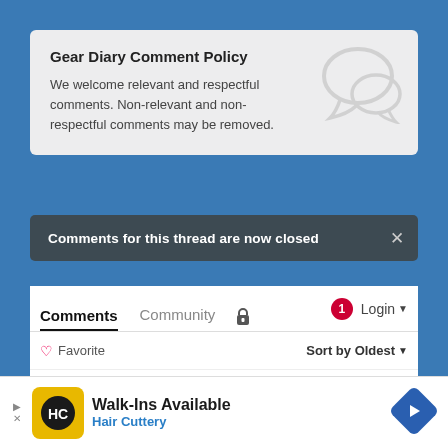Gear Diary Comment Policy
We welcome relevant and respectful comments. Non-relevant and non-respectful comments may be removed.
Comments for this thread are now closed
Comments   Community   🔒   🔴1   Login ▾
♡ Favorite   Sort by Oldest ▾
This discussion has been closed.
[Figure (screenshot): Advertisement for Hair Cuttery: Walk-Ins Available with HC logo and navigation arrow icon]